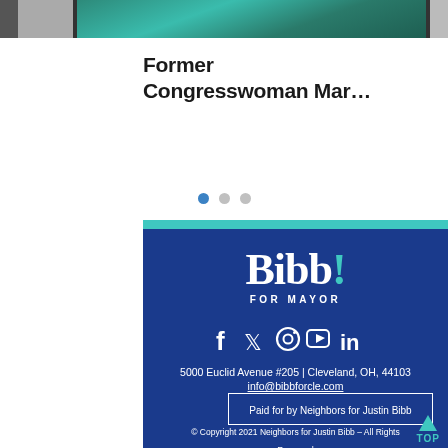[Figure (photo): Partial view of photos at top of page — person in teal/green clothing visible in center, partial images on left and right edges]
Former Congresswoman Mar…
[Figure (infographic): Carousel navigation dots — one blue active dot and two gray inactive dots]
[Figure (logo): Bibb! For Mayor campaign logo in white with teal exclamation point on dark blue background]
[Figure (infographic): Social media icons: Facebook, Twitter, Instagram, YouTube, LinkedIn in white on dark blue background]
5000 Euclid Avenue #205  |  Cleveland, OH, 44103
info@bibbforcle.com
Paid for by Neighbors for Justin Bibb
© Copyright 2021 Neighbors for Justin Bibb – All Rights Reserved